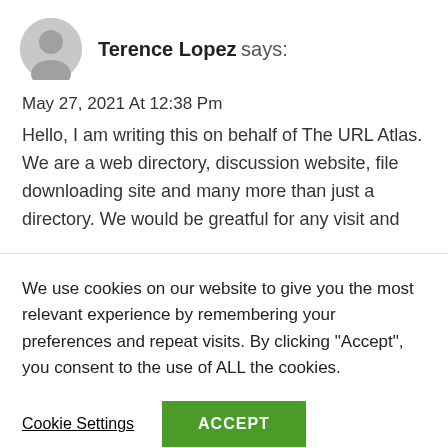Terence Lopez says:
May 27, 2021 At 12:38 Pm
Hello, I am writing this on behalf of The URL Atlas. We are a web directory, discussion website, file downloading site and many more than just a directory. We would be greatful for any visit and
We use cookies on our website to give you the most relevant experience by remembering your preferences and repeat visits. By clicking “Accept”, you consent to the use of ALL the cookies.
Cookie Settings
ACCEPT